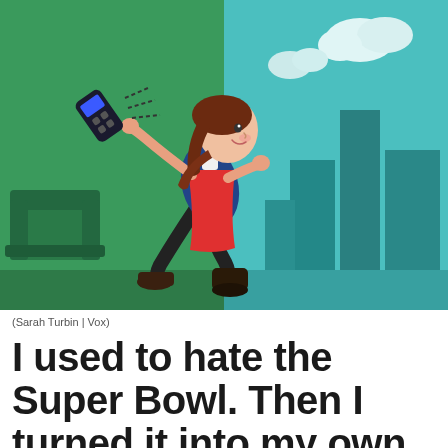[Figure (illustration): Illustration of a girl with brown hair in a red dress and dark boots running and throwing away a TV remote or controller. Left half has green background with a couch, right half has teal/blue background with city buildings and clouds. Art style is flat vector illustration.]
(Sarah Turbin | Vox)
I used to hate the Super Bowl. Then I turned it into my own holiday.